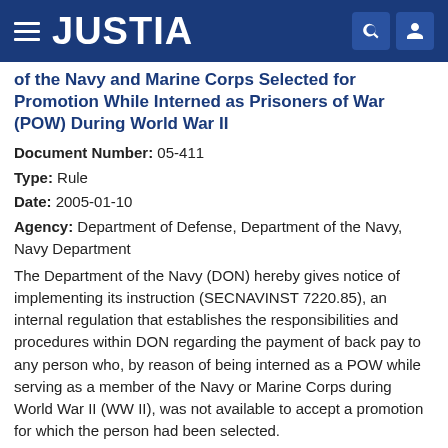JUSTIA
of the Navy and Marine Corps Selected for Promotion While Interned as Prisoners of War (POW) During World War II
Document Number: 05-411
Type: Rule
Date: 2005-01-10
Agency: Department of Defense, Department of the Navy, Navy Department
The Department of the Navy (DON) hereby gives notice of implementing its instruction (SECNAVINST 7220.85), an internal regulation that establishes the responsibilities and procedures within DON regarding the payment of back pay to any person who, by reason of being interned as a POW while serving as a member of the Navy or Marine Corps during World War II (WW II), was not available to accept a promotion for which the person had been selected.